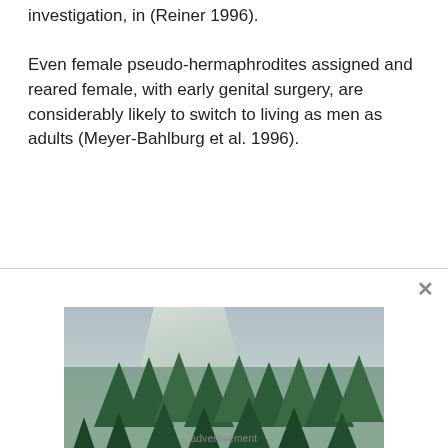investigation, in (Reiner 1996). Even female pseudo-hermaphrodites assigned and reared female, with early genital surgery, are considerably likely to switch to living as men as adults (Meyer-Bahlburg et al. 1996).
[Figure (photo): Advertisement overlay with a nature photo showing a forest and river scene, with text 'Recently diagnosed with bipolar disorder? DOWNLOAD OUR FREE EBOOK NOW.' and a close button (×) in the top right corner.]
advertisement